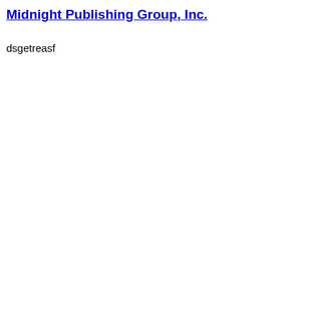Midnight Publishing Group, Inc.
dsgetreasf